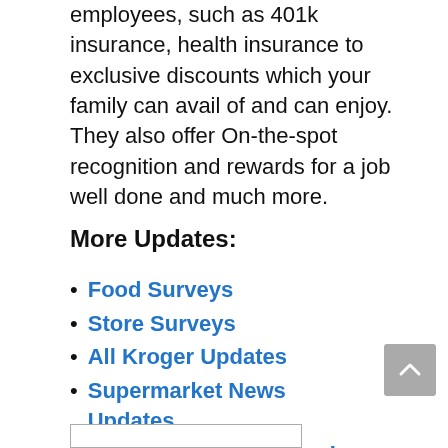employees, such as 401k insurance, health insurance to exclusive discounts which your family can avail of and can enjoy. They also offer On-the-spot recognition and rewards for a job well done and much more.
More Updates:
Food Surveys
Store Surveys
All Kroger Updates
Supermarket News Updates
Kroger Employee Sign In Updated